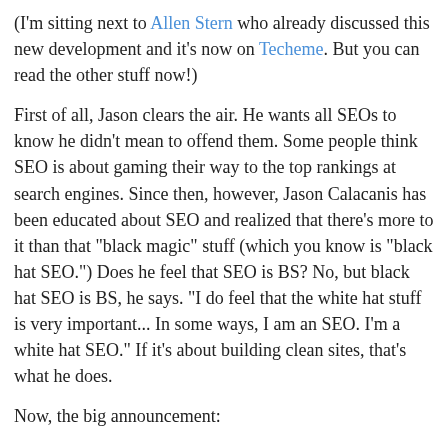(I'm sitting next to Allen Stern who already discussed this new development and it's now on Techeme. But you can read the other stuff now!)
First of all, Jason clears the air. He wants all SEOs to know he didn't mean to offend them. Some people think SEO is about gaming their way to the top rankings at search engines. Since then, however, Jason Calacanis has been educated about SEO and realized that there's more to it than that "black magic" stuff (which you know is "black hat SEO.") Does he feel that SEO is BS? No, but black hat SEO is BS, he says. "I do feel that the white hat stuff is very important... In some ways, I am an SEO. I'm a white hat SEO." If it's about building clean sites, that's what he does.
Now, the big announcement:
Mahalo was launched on May 30th of last year. Many people asked, "Isn't this DMOZ?" After all, the directory structure on the site looks like DMOZ or Yahoo Directory. That's intentional. But they said - DMOZ and Yahoo Directory failed for search queries. Why doesn't it exist? Yahoo Directory sold placement and removed human curators. It failed because they sold it out. Why did DMOZ failed? It was neglected. Both, however, were incredible at their